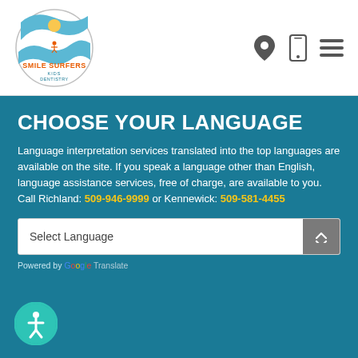[Figure (logo): Smile Surfers Kids Dentistry logo with wave and sun design]
[Figure (other): Navigation icons: location pin, mobile phone, hamburger menu]
CHOOSE YOUR LANGUAGE
Language interpretation services translated into the top languages are available on the site. If you speak a language other than English, language assistance services, free of charge, are available to you. Call Richland: 509-946-9999 or Kennewick: 509-581-4455
Select Language
Powered by Google Translate
[Figure (other): Accessibility icon - person in circle]